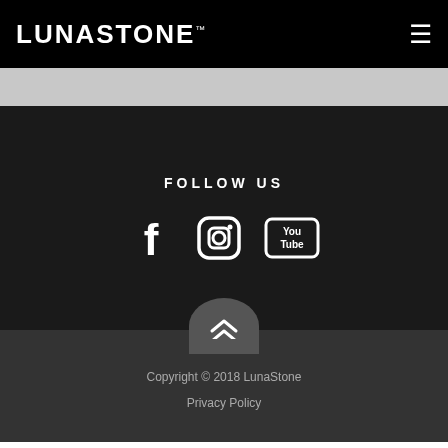LUNASTONE™
FOLLOW US
[Figure (other): Social media icons: Facebook, Instagram, YouTube]
Copyright © 2018 LunaStone
Privacy Policy